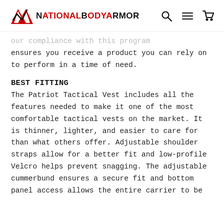National Body Armor
...our compliance with this program ensures you receive a product you can rely on to perform in a time of need.
BEST FITTING
The Patriot Tactical Vest includes all the features needed to make it one of the most comfortable tactical vests on the market. It is thinner, lighter, and easier to care for than what others offer. Adjustable shoulder straps allow for a better fit and low-profile Velcro helps prevent snagging. The adjustable cummerbund ensures a secure fit and bottom panel access allows the entire carrier to be